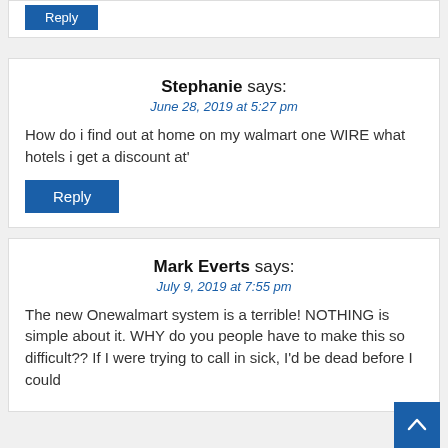Reply (button, top stub)
Stephanie says:
June 28, 2019 at 5:27 pm
How do i find out at home on my walmart one WIRE what hotels i get a discount at'
Reply
Mark Everts says:
July 9, 2019 at 7:55 pm
The new Onewalmart system is a terrible! NOTHING is simple about it. WHY do you people have to make this so difficult?? If I were trying to call in sick, I'd be dead before I could